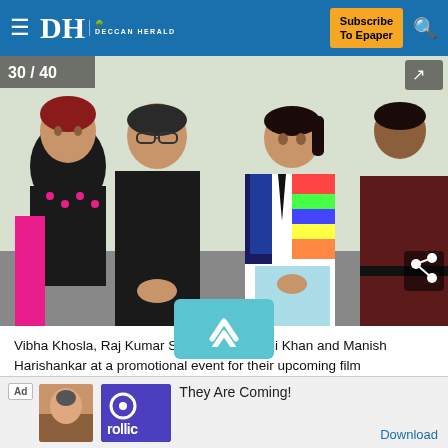DH DECCAN HERALD — Subscribe To Epaper
[Figure (photo): Four people standing together at a promotional event: Vibha Khosla (woman in black and pink dotted dress with magenta dupatta), Raj Kumar Santoshi (man in black shirt with glasses), Soha Ali Khan (woman in colorful striped jacket and light blue pants), and Manish Harishankar (man in maroon shirt). Counter shows 30/40 in top left corner.]
Vibha Khosla,  Raj Kumar Santoshi, Soha Ali Khan and Manish Harishankar at a promotional event for their upcoming film 'Chaarfutiye Chhokare' in Mumbai on Wednesday. PTI Photo
[Figure (other): Advertisement banner: Ad label, small app image, Rollic logo in purple, text 'They Are Coming!' with Download link]